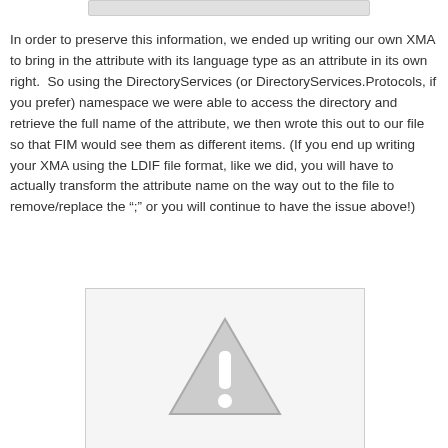[Figure (screenshot): Top partial screenshot bar (cropped image at top of page)]
In order to preserve this information, we ended up writing our own XMA to bring in the attribute with its language type as an attribute in its own right.  So using the DirectoryServices (or DirectoryServices.Protocols, if you prefer) namespace we were able to access the directory and retrieve the full name of the attribute, we then wrote this out to our file so that FIM would see them as different items. (If you end up writing your XMA using the LDIF file format, like we did, you will have to actually transform the attribute name on the way out to the file to remove/replace the “;” or you will continue to have the issue above!)
[Figure (screenshot): Screenshot box with a warning/caution triangle icon (exclamation mark in triangle) on grey background]